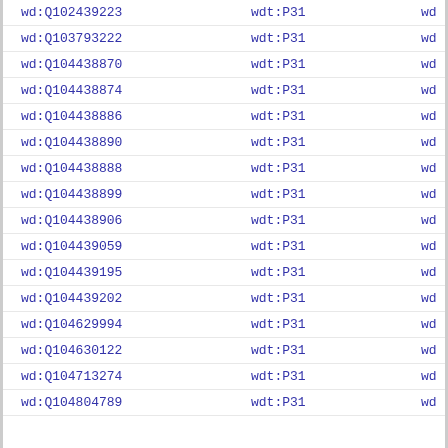| col1 | col2 | col3 |
| --- | --- | --- |
| wd:Q102439223 | wdt:P31 | wd |
| wd:Q103793222 | wdt:P31 | wd |
| wd:Q104438870 | wdt:P31 | wd |
| wd:Q104438874 | wdt:P31 | wd |
| wd:Q104438886 | wdt:P31 | wd |
| wd:Q104438890 | wdt:P31 | wd |
| wd:Q104438888 | wdt:P31 | wd |
| wd:Q104438899 | wdt:P31 | wd |
| wd:Q104438906 | wdt:P31 | wd |
| wd:Q104439059 | wdt:P31 | wd |
| wd:Q104439195 | wdt:P31 | wd |
| wd:Q104439202 | wdt:P31 | wd |
| wd:Q104629994 | wdt:P31 | wd |
| wd:Q104630122 | wdt:P31 | wd |
| wd:Q104713274 | wdt:P31 | wd |
| wd:Q104804789 | wdt:P31 | wd |